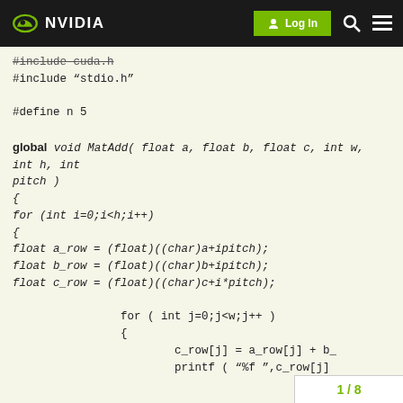NVIDIA — Log In (navigation bar)
#include "cuda.h"
#include "stdio.h"

#define n 5

global void MatAdd( float a, float b, float c, int w, int h, int pitch )
{
for (int i=0;i<h;i++)
{
float a_row = (float)((char)a+ipitch);
float b_row = (float)((char)b+ipitch);
float c_row = (float)((char)c+i*pitch);

    for ( int j=0;j<w;j++ )
    {
        c_row[j] = a_row[j] + b_
        printf ( "%f ",c_row[j]
        printf ( "%f ",a_row[j]
        printf ( "
1 / 8